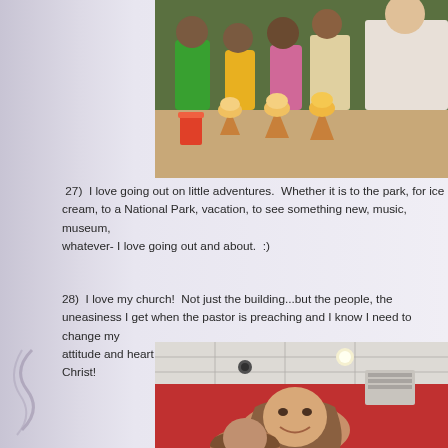[Figure (photo): Group photo of children and an adult holding ice cream cones at a table, smiling. The adult on the right is wearing a Mickey Mouse shirt.]
27)  I love going out on little adventures.  Whether it is to the park, for ice cream, to a National Park, vacation, to see something new, music, museum, whatever- I love going out and about.  :)
28)  I love my church!  Not just the building...but the people, the uneasiness I get when the pastor is preaching and I know I need to change my attitude and heart about a few things.  Life group and sharing together in Christ!
[Figure (photo): Selfie photo of a woman with long brown hair smiling inside what appears to be a restaurant with red walls and a white ceiling.]